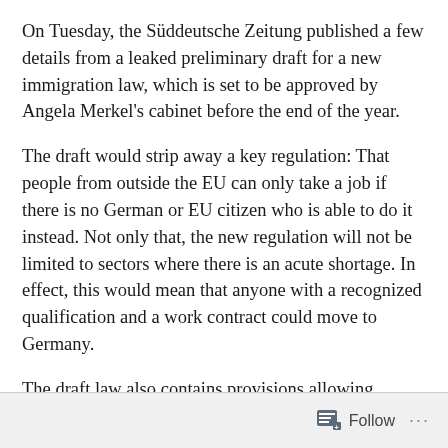On Tuesday, the Süddeutsche Zeitung published a few details from a leaked preliminary draft for a new immigration law, which is set to be approved by Angela Merkel's cabinet before the end of the year.
The draft would strip away a key regulation: That people from outside the EU can only take a job if there is no German or EU citizen who is able to do it instead. Not only that, the new regulation will not be limited to sectors where there is an acute shortage. In effect, this would mean that anyone with a recognized qualification and a work contract could move to Germany.
The draft law also contains provisions allowing skilled workers to move to Germany for six months to look for work, or to freelance, as long as they are able to support
Follow ···